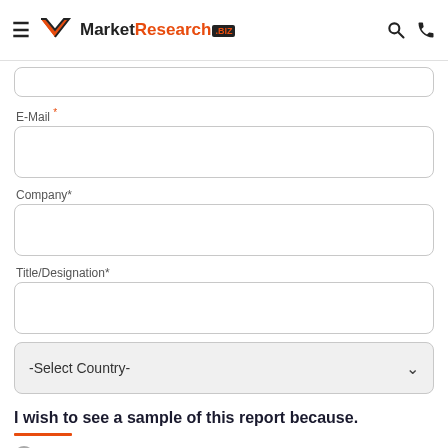MarketResearch.biz
E-Mail *
Company*
Title/Designation*
-Select Country-
I wish to see a sample of this report because.
I want to buy this report